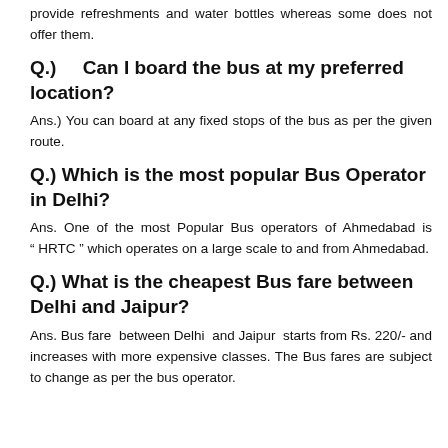provide refreshments and water bottles whereas some does not offer them.
Q.)    Can I board the bus at my preferred location?
Ans.) You can board at any fixed stops of the bus as per the given route.
Q.) Which is the most popular Bus Operator in Delhi?
Ans. One of the most Popular Bus operators of Ahmedabad is “ HRTC ” which operates on a large scale to and from Ahmedabad.
Q.) What is the cheapest Bus fare between Delhi and Jaipur?
Ans. Bus fare between Delhi and Jaipur starts from Rs. 220/- and increases with more expensive classes. The Bus fares are subject to change as per the bus operator.